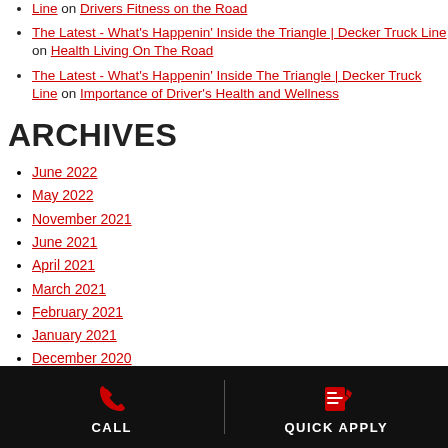Line on Drivers Fitness on the Road
The Latest - What's Happenin' Inside the Triangle | Decker Truck Line on Health Living On The Road
The Latest - What's Happenin' Inside The Triangle | Decker Truck Line on Importance of Driver's Health and Wellness
ARCHIVES
June 2022
May 2022
November 2021
June 2021
April 2021
March 2021
February 2021
January 2021
December 2020
November 2020
October 2020
September 2020
CALL | QUICK APPLY